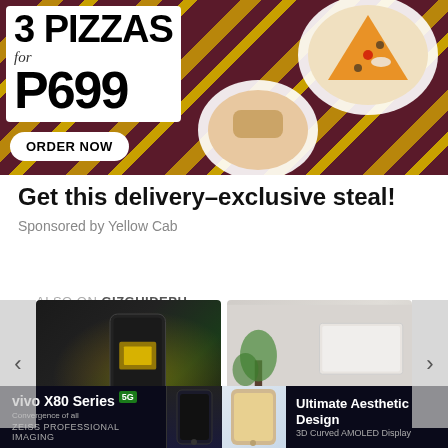[Figure (photo): Yellow Cab Pizza promotional banner: 3 Pizzas for P699 with ORDER NOW button, pizza plates on striped background]
Get this delivery-exclusive steal!
Sponsored by Yellow Cab
ALSO ON GIZGUIDEPH
[Figure (screenshot): Carousel of related articles from GizGuidePH with navigation arrows, showing phone and gadget articles with '1 comment' labels and CLOSE button]
[Figure (photo): vivo X80 Series 5G bottom advertisement banner: ZEISS PROFESSIONAL IMAGING, Ultimate Aesthetic Design, 3D Curved AMOLED Display]